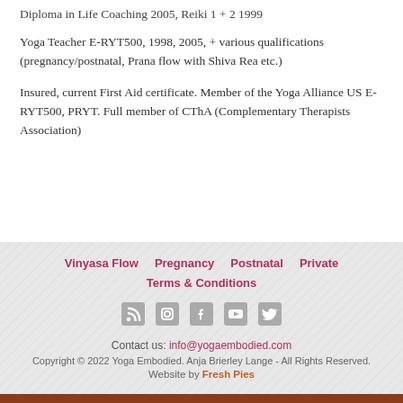Diploma in Life Coaching 2005, Reiki 1 + 2 1999
Yoga Teacher E-RYT500, 1998, 2005, + various qualifications (pregnancy/postnatal, Prana flow with Shiva Rea etc.)
Insured, current First Aid certificate. Member of the Yoga Alliance US E-RYT500, PRYT. Full member of CThA (Complementary Therapists Association)
Vinyasa Flow | Pregnancy | Postnatal | Private | Terms & Conditions | Contact us: info@yogaembodied.com | Copyright © 2022 Yoga Embodied. Anja Brierley Lange - All Rights Reserved. | Website by Fresh Pies